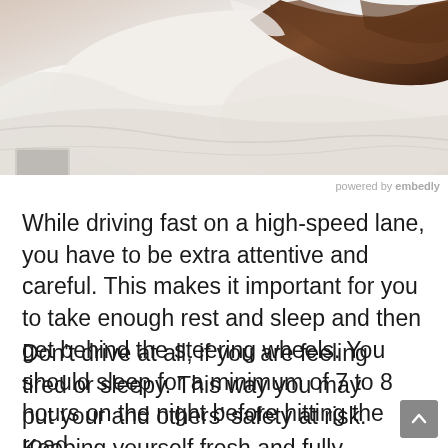[Figure (photo): Person lying in bed with white bedding, arms crossed, suggesting rest or sleep]
powered by embedly
While driving fast on a high-speed lane, you have to be extra attentive and careful. This makes it important for you to take enough rest and sleep and then get behind the steering wheels. You should sleep for a minimum of 7 to 8 hours on the night before hitting the road.
Don't drive at all, if you are feeling tired or sleepy. This way you may put your and others' safety at risk. Keeping yourself fresh and fully energized is one of the best safety tips for a road trip.